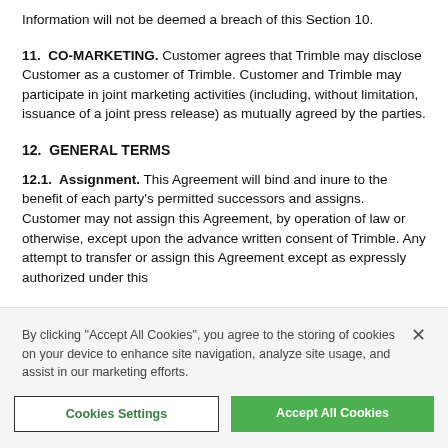Information will not be deemed a breach of this Section 10.
11.  CO-MARKETING. Customer agrees that Trimble may disclose Customer as a customer of Trimble. Customer and Trimble may participate in joint marketing activities (including, without limitation, issuance of a joint press release) as mutually agreed by the parties.
12.  GENERAL TERMS
12.1.  Assignment. This Agreement will bind and inure to the benefit of each party's permitted successors and assigns. Customer may not assign this Agreement, by operation of law or otherwise, except upon the advance written consent of Trimble. Any attempt to transfer or assign this Agreement except as expressly authorized under this
By clicking "Accept All Cookies", you agree to the storing of cookies on your device to enhance site navigation, analyze site usage, and assist in our marketing efforts.
Cookies Settings
Accept All Cookies